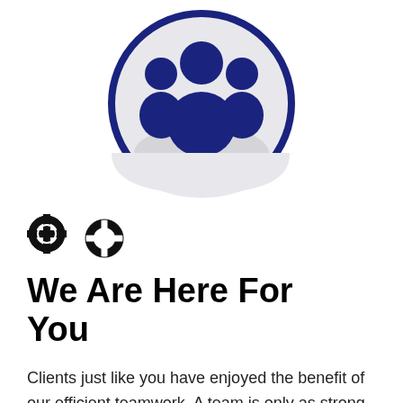[Figure (illustration): Dark navy blue group/team icon showing three people silhouettes inside a circle with a thick navy border, on a light gray background circle]
We Are Here For You
Clients just like you have enjoyed the benefit of our efficient teamwork. A team is only as strong as its weakest link, and we at Benchmark Mortgage Central Texas enjoy a proud history of